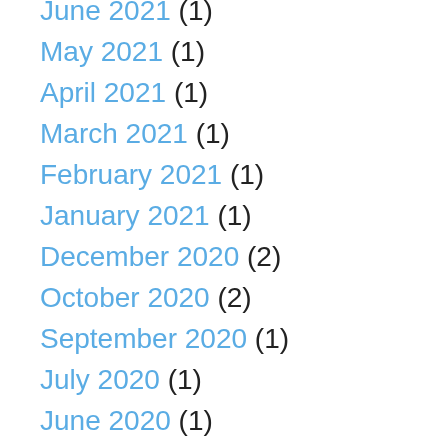June 2021 (1)
May 2021 (1)
April 2021 (1)
March 2021 (1)
February 2021 (1)
January 2021 (1)
December 2020 (2)
October 2020 (2)
September 2020 (1)
July 2020 (1)
June 2020 (1)
May 2020 (1)